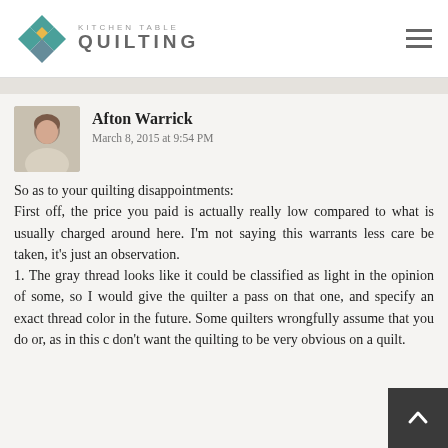Kitchen Table Quilting
[Figure (logo): Kitchen Table Quilting logo with diamond quilt pattern icon and text]
Afton Warrick
March 8, 2015 at 9:54 PM

So as to your quilting disappointments:
First off, the price you paid is actually really low compared to what is usually charged around here. I'm not saying this warrants less care be taken, it's just an observation.
1. The gray thread looks like it could be classified as light in the opinion of some, so I would give the quilter a pass on that one, and specify an exact thread color in the future. Some quilters wrongfully assume that you do or, as in this c don't want the quilting to be very obvious on a quilt.